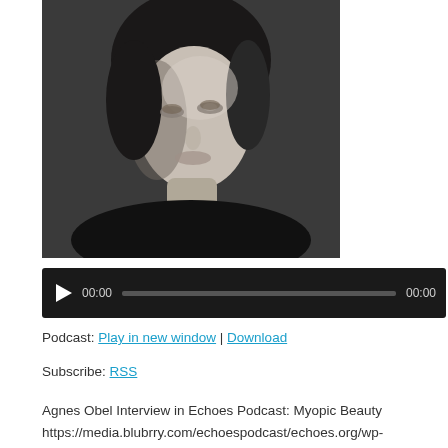[Figure (photo): Black and white portrait photo of a woman looking upward, cropped to show face and shoulders]
[Figure (screenshot): Audio player widget with dark background, play button, timestamp 00:00, progress bar, and end timestamp 00:00]
Podcast: Play in new window | Download
Subscribe: RSS
Agnes Obel Interview in Echoes Podcast: Myopic Beauty https://media.blubrry.com/echoespodcast/echoes.org/wp-content/uploads/2020/02/EchoesPodcast-AgnesObel.m4aPodcast: Play in new window | DownloadSubscribe: RSS In the Echoes Podcast, Danish singer Agnes Obel.  She creates a haunting ambient chamber pop music and has  been a big part of the show since her 2010 debut, Philharmonics, an Echoes CD of the Month, as was her last...